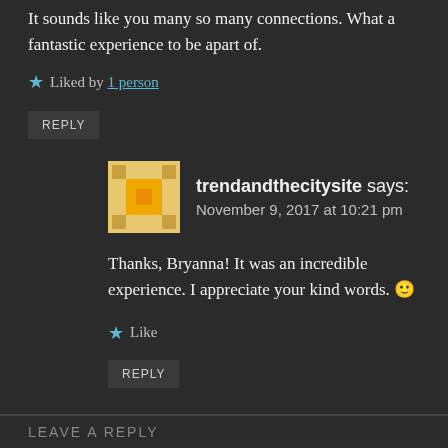It sounds like you many so many connections. What a fantastic experience to be apart of.
Liked by 1 person
REPLY
trendandthecitysite says: November 9, 2017 at 10:21 pm
Thanks, Bryanna! It was an incredible experience. I appreciate your kind words. 🙂
Like
REPLY
LEAVE A REPLY